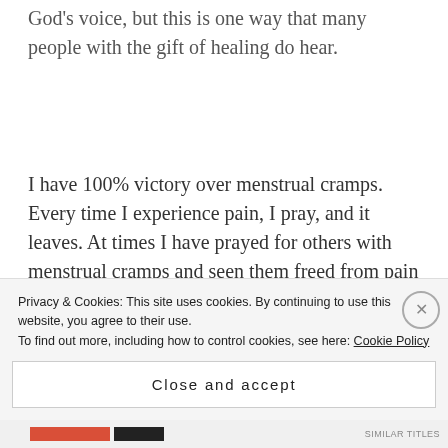God's voice, but this is one way that many people with the gift of healing do hear.
I have 100% victory over menstrual cramps. Every time I experience pain, I pray, and it leaves. At times I have prayed for others with menstrual cramps and seen them freed from pain too. I'm starting small, but He says if we are faithful with a little He will give us more. The gifts operate by faith. A little faith
Privacy & Cookies: This site uses cookies. By continuing to use this website, you agree to their use.
To find out more, including how to control cookies, see here: Cookie Policy
Close and accept